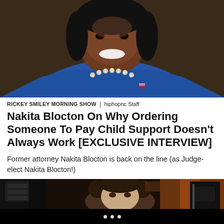[Figure (photo): Portrait photo of a smiling Black woman in a blue blazer wearing pearl earrings and a pearl necklace with a small pin on her lapel]
RICKEY SMILEY MORNING SHOW | hiphopnc Staff
Nakita Blocton On Why Ordering Someone To Pay Child Support Doesn't Always Work [EXCLUSIVE INTERVIEW]
Former attorney Nakita Blocton is back on the line (as Judge-elect Nakita Blocton!)
[Figure (photo): Photo of a woman resembling Princess Leia from Star Wars with side buns hairstyle, looking at camera in a dark setting with film equipment visible]